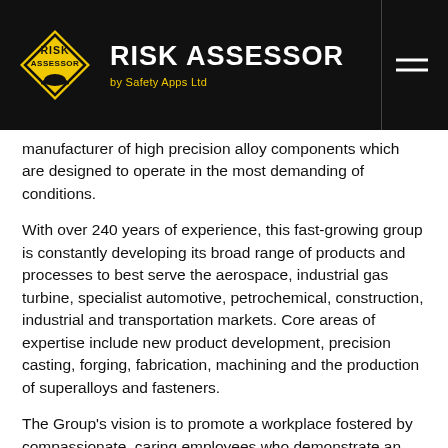RISK ASSESSOR by Safety Apps Ltd
manufacturer of high precision alloy components which are designed to operate in the most demanding of conditions.
With over 240 years of experience, this fast-growing group is constantly developing its broad range of products and processes to best serve the aerospace, industrial gas turbine, specialist automotive, petrochemical, construction, industrial and transportation markets. Core areas of expertise include new product development, precision casting, forging, fabrication, machining and the production of superalloys and fasteners.
The Group's vision is to promote a workplace fostered by compassionate, caring employees who demonstrate an active, willing, and personal desire to achieve a goal of zero injuries, illnesses, spills, and non-conformances